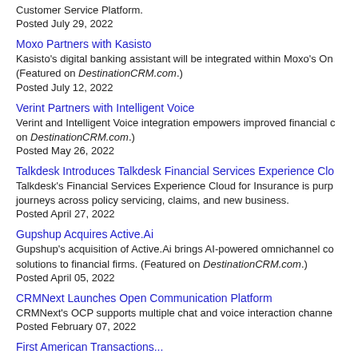Customer Service Platform.
Posted July 29, 2022
Moxo Partners with Kasisto
Kasisto's digital banking assistant will be integrated within Moxo's On... (Featured on DestinationCRM.com.)
Posted July 12, 2022
Verint Partners with Intelligent Voice
Verint and Intelligent Voice integration empowers improved financial c... on DestinationCRM.com.)
Posted May 26, 2022
Talkdesk Introduces Talkdesk Financial Services Experience Clo...
Talkdesk's Financial Services Experience Cloud for Insurance is purp... journeys across policy servicing, claims, and new business.
Posted April 27, 2022
Gupshup Acquires Active.Ai
Gupshup's acquisition of Active.Ai brings AI-powered omnichannel co... solutions to financial firms. (Featured on DestinationCRM.com.)
Posted April 05, 2022
CRMNext Launches Open Communication Platform
CRMNext's OCP supports multiple chat and voice interaction channe...
Posted February 07, 2022
First American Transactions...